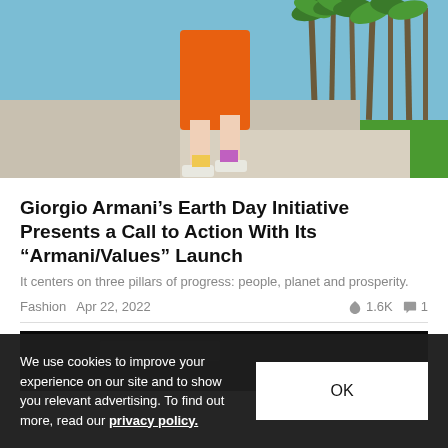[Figure (photo): Person wearing an orange outfit and sneakers at a skate park with palm trees and blue sky in the background]
Giorgio Armani's Earth Day Initiative Presents a Call to Action With Its “Armani/Values” Launch
It centers on three pillars of progress: people, planet and prosperity.
Fashion  Apr 22, 2022  1.6K  1
[Figure (photo): Dark/black image partially visible]
We use cookies to improve your experience on our site and to show you relevant advertising. To find out more, read our privacy policy.